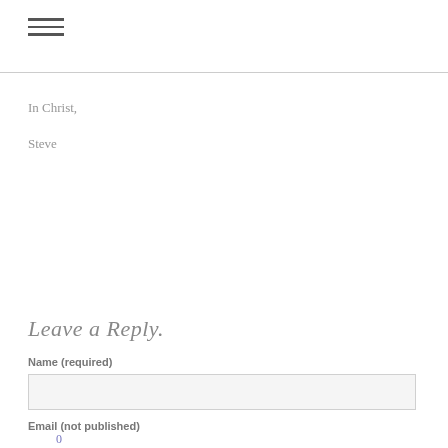[Figure (other): Hamburger menu icon with three horizontal lines]
In Christ,
Steve
0 Comments
Leave a Reply.
Name (required)
Email (not published)